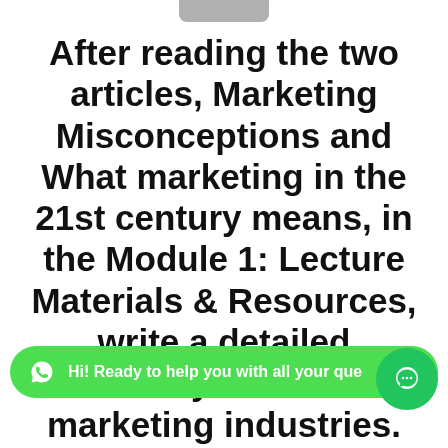After reading the two articles, Marketing Misconceptions and What marketing in the 21st century means, in the Module 1: Lecture Materials & Resources, write a detailed summary on current marketing industries.
Hi! Ready to help you with all your que...